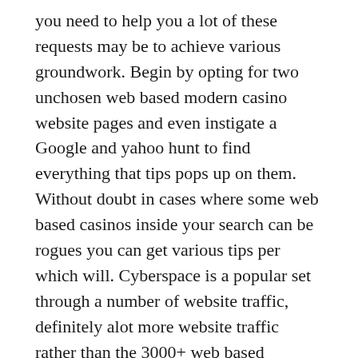you need to help you a lot of these requests may be to achieve various groundwork. Begin by opting for two unchosen web based modern casino website pages and even instigate a Google and yahoo hunt to find everything that tips pops up on them. Without doubt in cases where some web based casinos inside your search can be rogues you can get various tips per which will. Cyberspace is a popular set through a number of website traffic, definitely alot more website traffic rather than the 3000+ web based casinos, and even truth be told there will certainly end up a friend or relative you can get with possessed various operated inches through such fake web based casinos.
Criminal web based casinos are considered hover as a result of days or weeks organisations, if you happen to might, 1 minute so you see them all popping up everywhere, and even when good